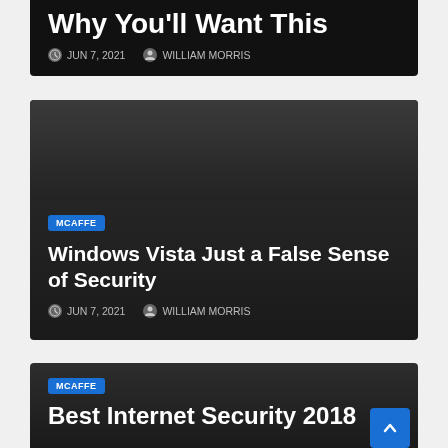[Figure (screenshot): Dark card (top, partially cropped) with bold white title text 'Why You'll Want This', date meta 'JUN 7, 2021' and author 'WILLIAM MORRIS']
[Figure (screenshot): Dark card with blue MCAFFE badge, title 'Windows Vista Just a False Sense of Security', date 'JUN 7, 2021', author 'WILLIAM MORRIS']
[Figure (screenshot): Dark card (partially cropped at bottom) with blue MCAFFE badge, title 'Best Internet Security 2018', and blue scroll-to-top button]